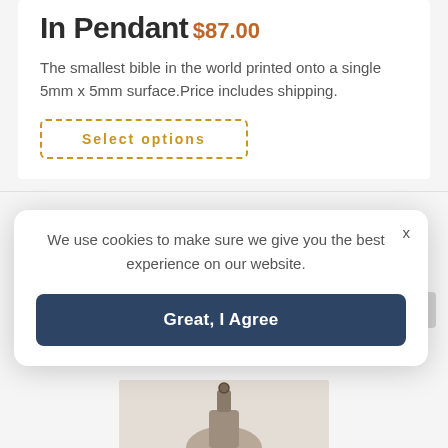In Pendant
$87.00
The smallest bible in the world printed onto a single 5mm x 5mm surface.Price includes shipping.
Select options
We use cookies to make sure we give you the best experience on our website.
Great, I Agree
[Figure (photo): Bottom portion of a pendant product image on a light beige background]